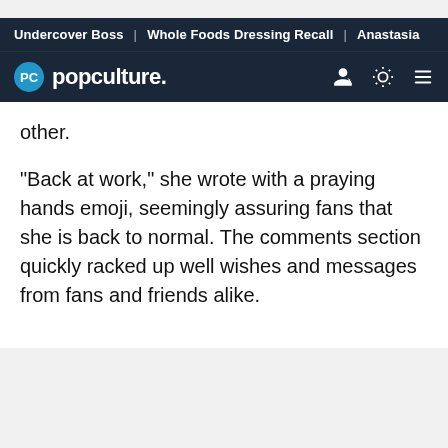Undercover Boss | Whole Foods Dressing Recall | Anastasia
[Figure (logo): Popculture.com logo with PC icon and navigation icons]
other.
"Back at work," she wrote with a praying hands emoji, seemingly assuring fans that she is back to normal. The comments section quickly racked up well wishes and messages from fans and friends alike.